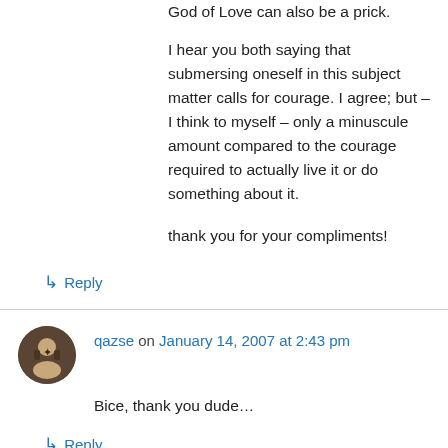God of Love can also be a prick. I hear you both saying that submersing oneself in this subject matter calls for courage. I agree; but – I think to myself – only a minuscule amount compared to the courage required to actually live it or do something about it.

thank you for your compliments!
↳ Reply
qazse on January 14, 2007 at 2:43 pm
Bice, thank you dude…
↳ Reply